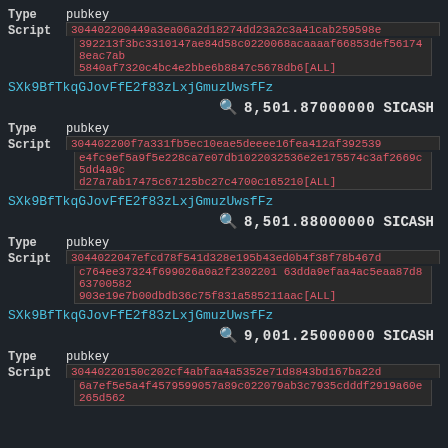Type   pubkey
Script  304402200449a3ea06a2d18274dd23a2c3a41cab259598e392213f3bc3310147ae84d58c0220068acaaaaf66853def561748eac7ab5840af7320c4bc4e2bbe6b8847c5678db6[ALL]
SXk9BfTkqGJovFfE2f83zLxjGmuzUwsfFz
8,501.87000000 SICASH
Type   pubkey
Script  304402200f7a331fb5ec10eae5deeee16fea412af392539e4fc9ef5a9f5e228ca7e07db1022032536e2e175574c3af2669c5dd4a9cd27a7ab17475c67125bc27c4700c165210[ALL]
SXk9BfTkqGJovFfE2f83zLxjGmuzUwsfFz
8,501.88000000 SICASH
Type   pubkey
Script  3044022047efcd78f541d328e195b43ed0b4f38f78b467dc764ee37324f699026a0a2f2302201 63dda9efaa4ac5eaa87d863700582903e19e7b00dbdb36c75f831a585211aac[ALL]
SXk9BfTkqGJovFfE2f83zLxjGmuzUwsfFz
9,001.25000000 SICASH
Type   pubkey
Script  30440220150c202cf4abfaa4a5352e71d8843bd167ba22d6a7ef5e5a4f4579599057a89c022079ab3c7935cdddf2919a60e265d562